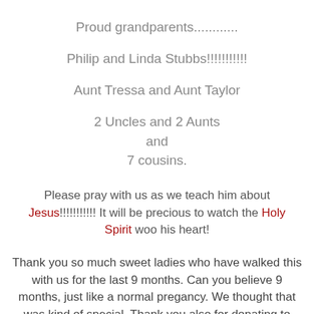Proud grandparents............
Philip and Linda Stubbs!!!!!!!!!!!
Aunt Tressa and Aunt Taylor
2 Uncles and 2 Aunts
and
7 cousins.
Please pray with us as we teach him about Jesus!!!!!!!!!!! It will be precious to watch the Holy Spirit woo his heart!
Thank you so much sweet ladies who have walked this with us for the last 9 months. Can you believe 9 months, just like a normal pregancy. We thought that was kind of special. Thank you also for donating to